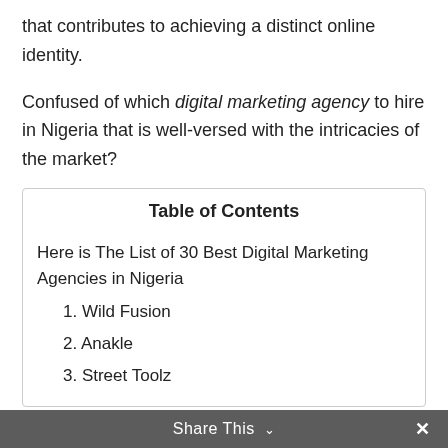that contributes to achieving a distinct online identity.
Confused of which digital marketing agency to hire in Nigeria that is well-versed with the intricacies of the market?
Table of Contents
Here is The List of 30 Best Digital Marketing Agencies in Nigeria
1. Wild Fusion
2. Anakle
3. Street Toolz
Share This ∨  ✕